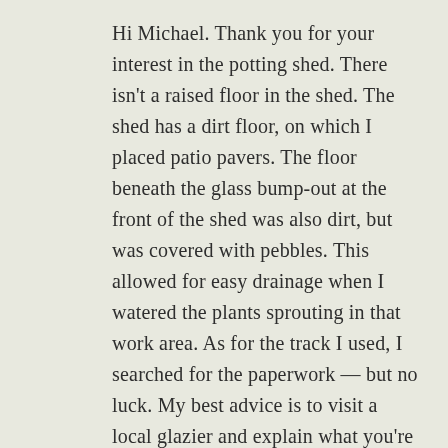Hi Michael. Thank you for your interest in the potting shed. There isn't a raised floor in the shed. The shed has a dirt floor, on which I placed patio pavers. The floor beneath the glass bump-out at the front of the shed was also dirt, but was covered with pebbles. This allowed for easy drainage when I watered the plants sprouting in that work area. As for the track I used, I searched for the paperwork — but no luck. My best advice is to visit a local glazier and explain what you're looking to do. He should be able to suggest a product that would work in your area. I draw the product and email that to you. Best.